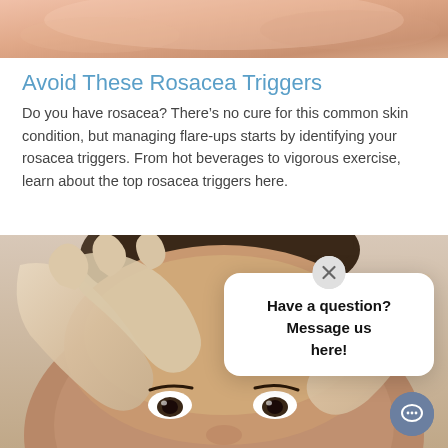[Figure (photo): Close-up photo of hands/skin area at the top of the page, skin tones in peach and pink]
Avoid These Rosacea Triggers
Do you have rosacea? There's no cure for this common skin condition, but managing flare-ups starts by identifying your rosacea triggers. From hot beverages to vigorous exercise, learn about the top rosacea triggers here.
[Figure (photo): Photo of a person with curly hair looking up while gloved medical hands examine their forehead. An overlay chat popup reads 'Have a question? Message us here!' with a close (x) button and a chat icon button in the bottom right corner.]